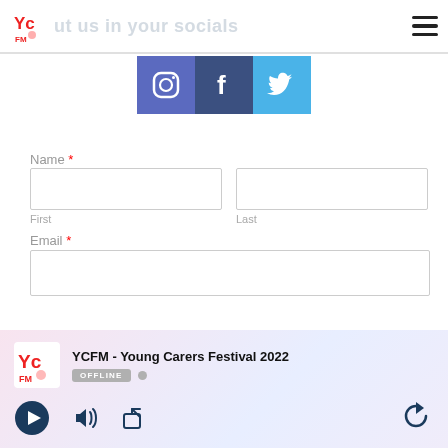put us in your socials
[Figure (logo): YCFM logo in header]
[Figure (infographic): Social media icons: Instagram, Facebook, Twitter]
Name *
First
Last
Email *
[Figure (infographic): Radio player bar: YCFM - Young Carers Festival 2022, OFFLINE status, play/volume/share/forward controls]